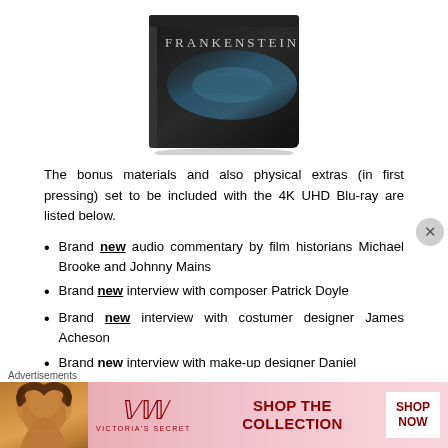[Figure (photo): Frankenstein 4K UHD Blu-ray steelbook product image showing the top edge of a dark steelbook case with 'FRANKENSTEIN' text and a moody blue-tinted hand image on the cover.]
The bonus materials and also physical extras (in first pressing) set to be included with the 4K UHD Blu-ray are listed below.
Brand new audio commentary by film historians Michael Brooke and Johnny Mains
Brand new interview with composer Patrick Doyle
Brand new interview with costumer designer James Acheson
Brand new interview with make-up designer Daniel
[Figure (photo): Victoria's Secret advertisement banner with pink gradient background, woman's face on left, VS logo, 'SHOP THE COLLECTION' text, and 'SHOP NOW' button.]